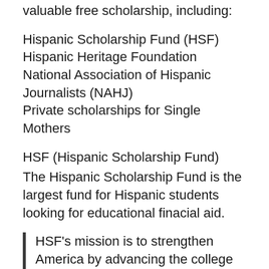valuable free scholarship, including:
Hispanic Scholarship Fund (HSF)
Hispanic Heritage Foundation
National Association of Hispanic Journalists (NAHJ)
Private scholarships for Single Mothers
HSF (Hispanic Scholarship Fund)
The Hispanic Scholarship Fund is the largest fund for Hispanic students looking for educational finacial aid.
HSF's mission is to strengthen America by advancing the college education of